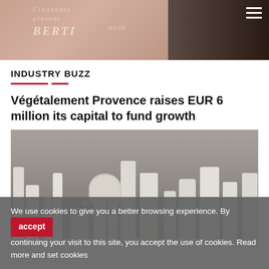[Figure (photo): Top banner image showing cosmetic product (powder compact labeled LIBERTY week) on left pinkish background, dark background on right with partial silhouette, hamburger menu icon top right]
INDUSTRY BUZZ
Végétalement Provence raises EUR 6 million its capital to fund growth
[Figure (photo): Product photo showing multiple white/cream colored skincare and beauty product bottles and containers arranged on a stone/concrete surface with small yellow flowers]
We use cookies to give you a better browsing experience. By continuing your visit to this site, you accept the use of cookies. Read more and set cookies